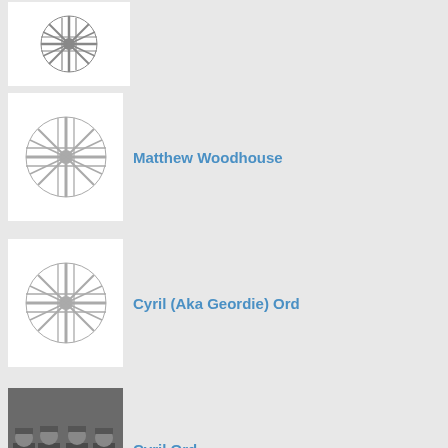[Figure (logo): Placeholder circular icon with radiating lines pattern, dark gray on white background, no name shown]
[Figure (logo): Placeholder circular icon with radiating lines pattern, gray on white background]
Matthew Woodhouse
[Figure (logo): Placeholder circular icon with radiating lines pattern, gray on white background]
Cyril (Aka Geordie) Ord
[Figure (photo): Black and white group photo of soldiers/military personnel seated and standing]
Cyril Ord
[Figure (logo): Placeholder circular icon with radiating lines pattern, gray on white background, partially cropped]
Don Cameron